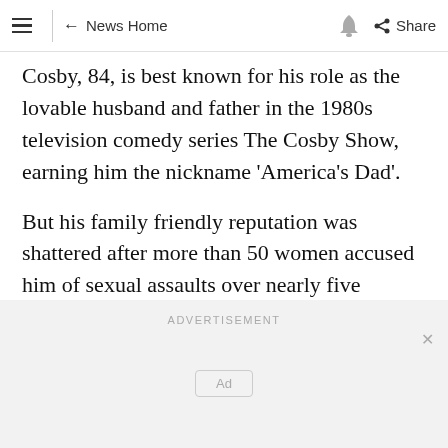≡ ← News Home 🔔 Share
Cosby, 84, is best known for his role as the lovable husband and father in the 1980s television comedy series The Cosby Show, earning him the nickname 'America's Dad'.
But his family friendly reputation was shattered after more than 50 women accused him of sexual assaults over nearly five decades.
ADVERTISEMENT